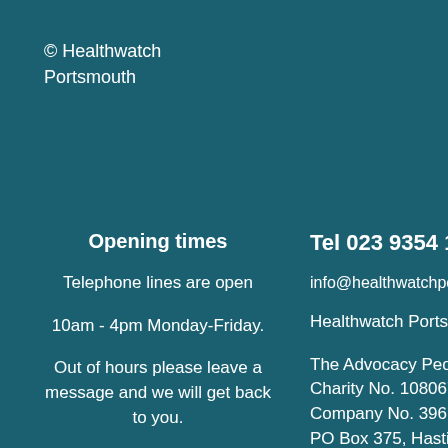© Healthwatch Portsmouth
Opening times
Telephone lines are open
10am - 4pm Monday-Friday.
Out of hours please leave a message and we will get back to you.
Tel 023 9354 1510
info@healthwatchportsmо
Healthwatch Portsmouth is provided by
The Advocacy People Charity No. 1080679 Company No. 396... PO Box 375, Hasti... East Sussex, TN34...